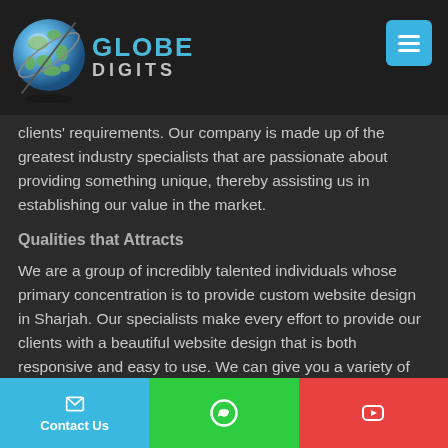Globe Digits - Logo and navigation header
clients' requirements. Our company is made up of the greatest industry specialists that are passionate about providing something unique, thereby assisting us in establishing our value in the market.
Qualities that Attracts
We are a group of incredibly talented individuals whose primary concentration is to provide custom website design in Sharjah. Our specialists make every effort to provide our clients with a beautiful website design that is both responsive and easy to use. We can give you a variety of solutions, whether you want your website designed in WordPress or in
Contact Us | WhatsApp | YouTube